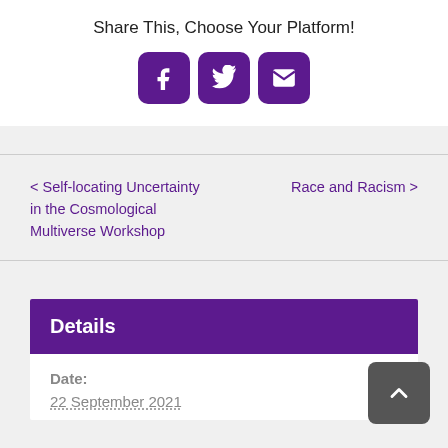Share This, Choose Your Platform!
[Figure (other): Three social sharing buttons: Facebook (f), Twitter (bird), and Email (envelope), each in a purple rounded square]
< Self-locating Uncertainty in the Cosmological Multiverse Workshop
Race and Racism >
Details
Date:
22 September 2021